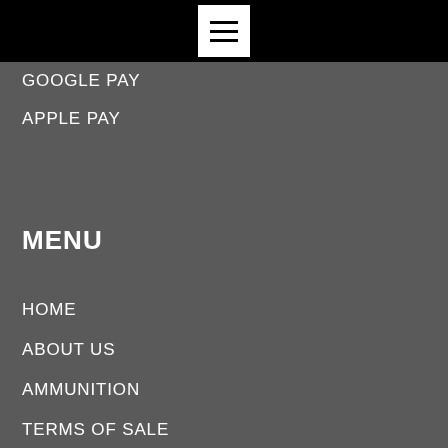≡
GOOGLE PAY
APPLE PAY
MENU
HOME
ABOUT US
AMMUNITION
TERMS OF SALE
FAQS
CONTACT US